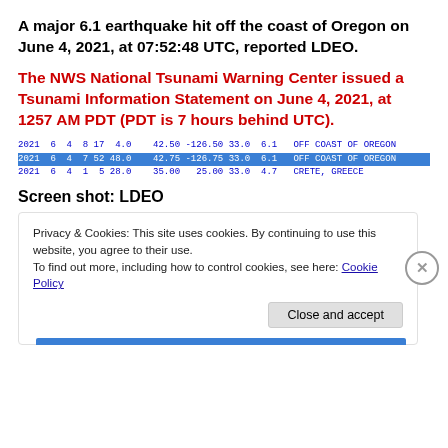A major 6.1 earthquake hit off the coast of Oregon on June 4, 2021, at 07:52:48 UTC, reported LDEO.
The NWS National Tsunami Warning Center issued a Tsunami Information Statement on June 4, 2021, at 1257 AM PDT (PDT is 7 hours behind UTC).
| 2021 | 6 | 4 | 8 | 17 | 4.0 | 42.50 | -126.50 | 33.0 | 6.1 | OFF COAST OF OREGON |
| 2021 | 6 | 4 | 7 | 52 | 48.0 | 42.75 | -126.75 | 33.0 | 6.1 | OFF COAST OF OREGON |
| 2021 | 6 | 4 | 1 | 5 | 28.0 | 35.00 | 25.00 | 33.0 | 4.7 | CRETE, GREECE |
Screen shot: LDEO
Privacy & Cookies: This site uses cookies. By continuing to use this website, you agree to their use.
To find out more, including how to control cookies, see here: Cookie Policy